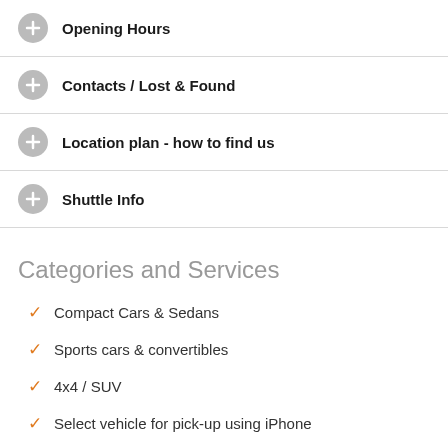Opening Hours
Contacts / Lost & Found
Location plan - how to find us
Shuttle Info
Categories and Services
Compact Cars & Sedans
Sports cars & convertibles
4x4 / SUV
Select vehicle for pick-up using iPhone